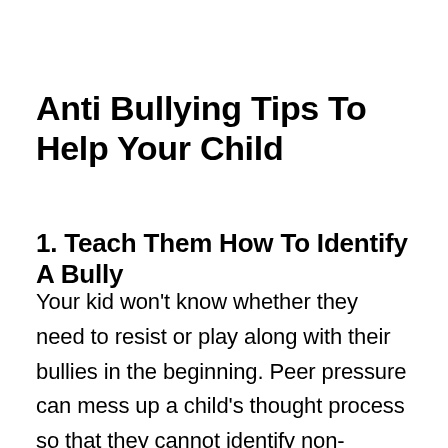Anti Bullying Tips To Help Your Child
1. Teach Them How To Identify A Bully
Your kid won't know whether they need to resist or play along with their bullies in the beginning. Peer pressure can mess up a child's thought process so that they cannot identify non-physical aggression. Unfortunately, the early stages of bullying are not physical in most cases, so it's critical for your child to